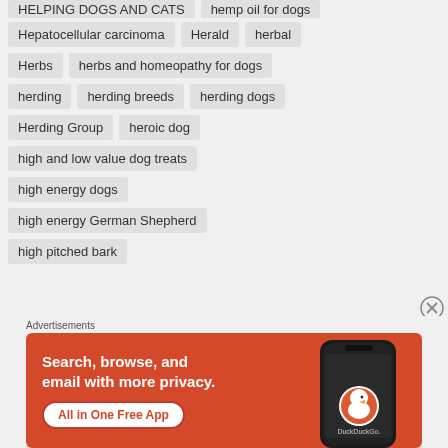HELPING DOGS AND CATS | hemp oil for dogs
Hepatocellular carcinoma | Herald | herbal
Herbs | herbs and homeopathy for dogs
herding | herding breeds | herding dogs
Herding Group | heroic dog
high and low value dog treats
high energy dogs
high energy German Shepherd
high pitched bark
Advertisements
[Figure (screenshot): DuckDuckGo advertisement banner: orange background with text 'Search, browse, and email with more privacy. All in One Free App' and a phone mockup showing the DuckDuckGo logo]